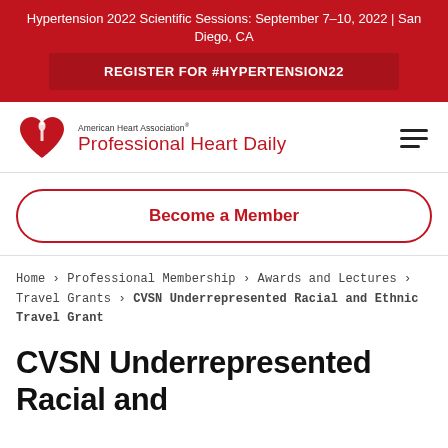Hypertension 2022 Scientific Sessions: September 7–10, 2022 | San Diego, CA
REGISTER FOR #HYPERTENSION22
[Figure (logo): American Heart Association Professional Heart Daily logo with red heart and torch icon]
Become a Member
Home › Professional Membership › Awards and Lectures › Travel Grants › CVSN Underrepresented Racial and Ethnic Travel Grant
CVSN Underrepresented Racial and